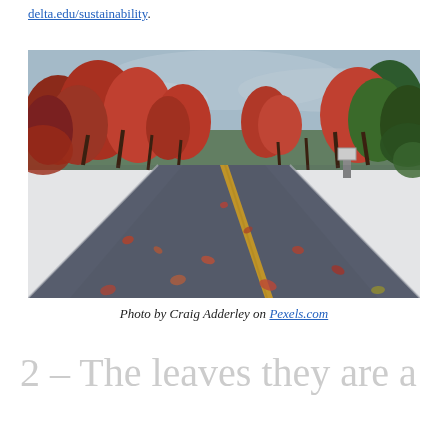delta.edu/sustainability.
[Figure (photo): Autumn road scene with red and orange-leafed trees lining both sides of a wet asphalt road with yellow center lines, leaves scattered on the road, photographed from road level looking into the distance.]
Photo by Craig Adderley on Pexels.com
2 – The leaves they are a